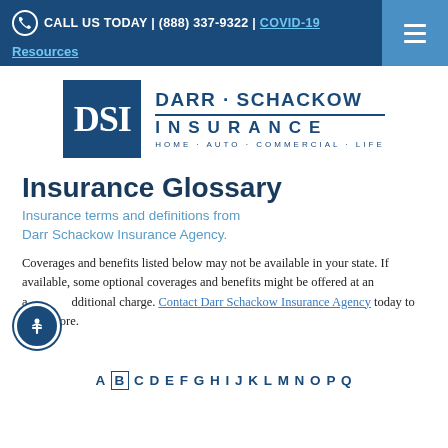CALL US TODAY | (888) 337-9322 | COVID-19
Resources
[Figure (logo): Darr Schackow Insurance logo with DSI initials in a blue box and text reading DARR · SCHACKOW INSURANCE HOME · AUTO · COMMERCIAL · LIFE]
Insurance Glossary
Insurance terms and definitions from Darr Schackow Insurance Agency.
Coverages and benefits listed below may not be available in your state. If available, some optional coverages and benefits might be offered at an additional charge. Contact Darr Schackow Insurance Agency today to learn more.
A B C D E F G H I J K L M N O P Q